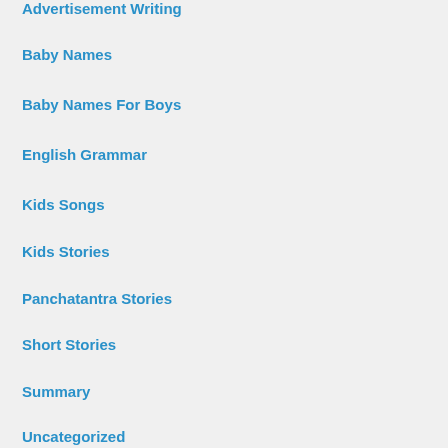Advertisement Writing
Baby Names
Baby Names For Boys
English Grammar
Kids Songs
Kids Stories
Panchatantra Stories
Short Stories
Summary
Uncategorized
Pages
About Us
Contact Us